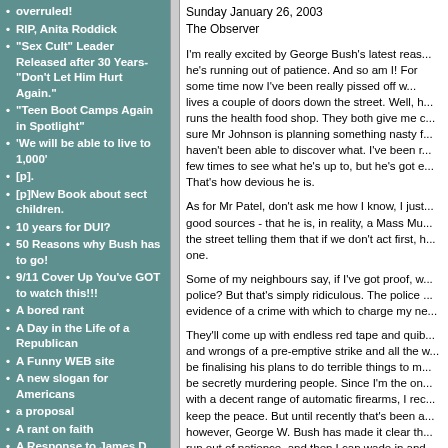overruled!
RIP, Anita Roddick
"Sex Cult" Leader Released after 30 Years-"Don't Let Him Hurt Again."
"Teen Boot Camps Again in Spotlight"
'We will be able to live to 1,000'
[p].
[p]New Book about sect children.
10 years for DUI?
50 Reasons why Bush has to go!
9/11 Cover Up You've GOT to watch this!!!
A bored rant
A Day in the Life of a Republican
A Funny WEB site
A new slogan for Americans
a proposal
A rant on faith
A Response to James D. Chancellor's Life in The Family: An Oral History of the Children of God
Sunday January 26, 2003
The Observer
I'm really excited by George Bush's latest reas... he's running out of patience. And so am I! For some time now I've been really pissed off w... lives a couple of doors down the street. Well, h... runs the health food shop. They both give me c... sure Mr Johnson is planning something nasty f... haven't been able to discover what. I've been r... few times to see what he's up to, but he's got e... That's how devious he is.
As for Mr Patel, don't ask me how I know, I just... good sources - that he is, in reality, a Mass Mu... the street telling them that if we don't act first, h... one.
Some of my neighbours say, if I've got proof, w... police? But that's simply ridiculous. The police ... evidence of a crime with which to charge my ne...
They'll come up with endless red tape and quib... and wrongs of a pre-emptive strike and all the w... be finalising his plans to do terrible things to m... be secretly murdering people. Since I'm the on... with a decent range of automatic firearms, I rec... keep the peace. But until recently that's been a... however, George W. Bush has made it clear th... run out of patience, and then I can wade in and...
And let's face it, Mr Bush's carefully thought-ou... is the only way to bring about international pe...